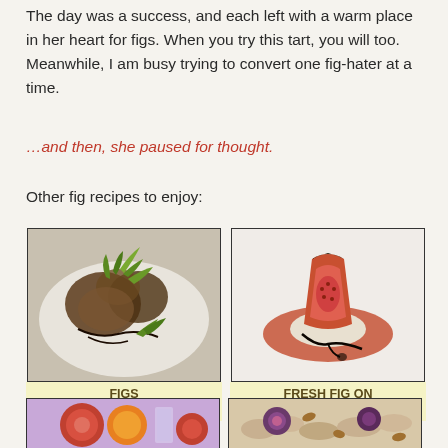The day was a success, and each left with a warm place in her heart for figs. When you try this tart, you will too. Meanwhile, I am busy trying to convert one fig-hater at a time.
…and then, she paused for thought.
Other fig recipes to enjoy:
[Figure (photo): A plate with figs wrapped in dark leaves, garnished with green herbs and drizzled with balsamic glaze]
FIGS
IN A BLANKET
[Figure (photo): A sliced fresh fig standing upright on a parmesan crisp with red sauce and balsamic drizzle]
FRESH FIG ON
PARMESAN CRISPS
[Figure (photo): A fig cocktail drink with sliced figs and an orange slice]
[Figure (photo): Oatmeal or granola with figs and nuts]